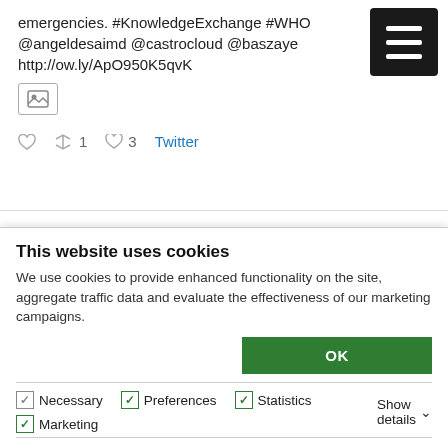emergencies. #KnowledgeExchange #WHO @angeldesaimd @castrocloud @baszaye http://ow.ly/ApO950K5qvK
↺ 1   ♡ 3   Twitter
International Society for Infectious Diseases
@isid_org · 17 Aug
Be sure to check out our workshop on the
This website uses cookies
We use cookies to provide enhanced functionality on the site, aggregate traffic data and evaluate the effectiveness of our marketing campaigns.
OK
Necessary   Preferences   Statistics   Marketing   Show details